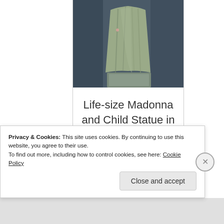[Figure (photo): Partial view of a life-size Madonna and Child statue, showing draped robes and a crescent moon base, carved from salt in Wieliczka Salt Mine, Poland. The statue is photographed against a dark stone background.]
Life-size Madonna and Child Statue in Wieliczka Salt Mine, Wieliczka, Poland, 1992
Privacy & Cookies: This site uses cookies. By continuing to use this website, you agree to their use.
To find out more, including how to control cookies, see here: Cookie Policy